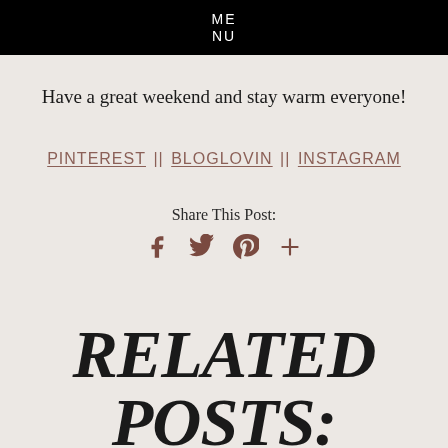ME
NU
Have a great weekend and stay warm everyone!
PINTEREST || BLOGLOVIN || INSTAGRAM
Share This Post:
[Figure (illustration): Social share icons: Facebook, Twitter, Pinterest, Google+]
RELATED POSTS: